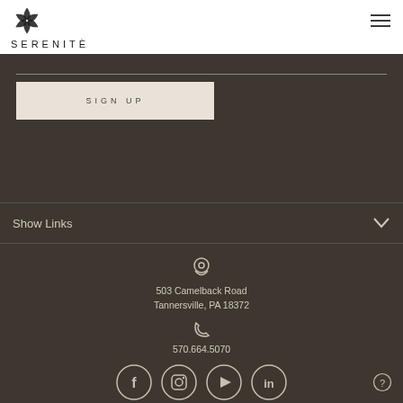SERENITÉ
SIGN UP
Show Links
503 Camelback Road
Tannersville, PA 18372
570.664.5070
[Figure (other): Social media icons: Facebook, Instagram, YouTube, LinkedIn circles]